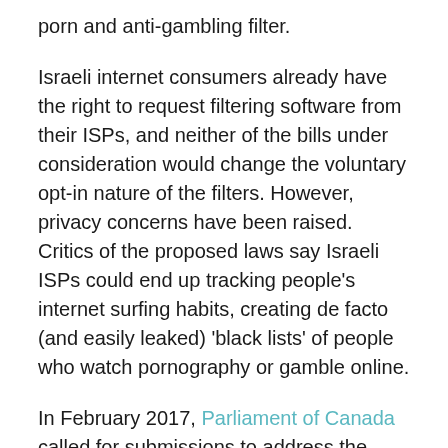porn and anti-gambling filter.
Israeli internet consumers already have the right to request filtering software from their ISPs, and neither of the bills under consideration would change the voluntary opt-in nature of the filters. However, privacy concerns have been raised. Critics of the proposed laws say Israeli ISPs could end up tracking people’s internet surfing habits, creating de facto (and easily leaked) ‘black lists’ of people who watch pornography or gamble online.
In February 2017, Parliament of Canada called for submissions to address the Public Health Effects of Online Violent and Degrading